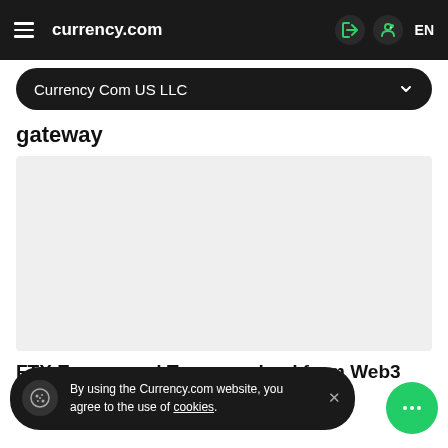currency.com
Currency Com US LLC
gateway
[Figure (other): Gray placeholder content area]
FTX Europe and Tomorrowland form Web3 and NFT
By using the Currency.com website, you agree to the use of cookies.